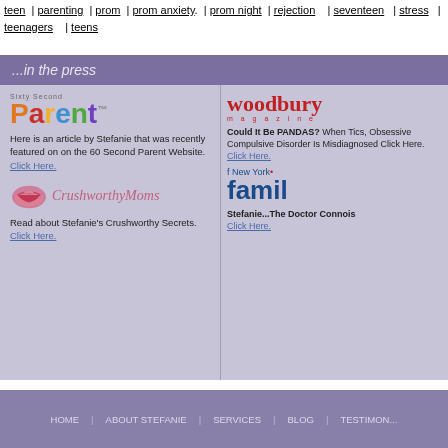teen | parenting | prom | prom anxiety | prom night | rejection | seventeen | stress | teenagers | teens
...in the press
[Figure (logo): Sixty Second Parent logo with colorful letters]
Here is an article by Stefanie that was recently featured on on the 60 Second Parent Website. Click Here.
[Figure (logo): CrushworthyMoms logo with lips icon]
Read about Stefanie's Crushworthy Secrets. Click Here.
[Figure (logo): Woodbury magazine logo in red]
Could It Be PANDAS? When Tics, Obsessive Compulsive Disorder Is Misdiagnosed Click Here. Click Here.
[Figure (logo): New York Family magazine logo in blue]
Stefanie...The Doctor Connoisseur. Click Here.
HOME | ABOUT STEFANIE | SERVICES | BLOG | TESTIMONIALS